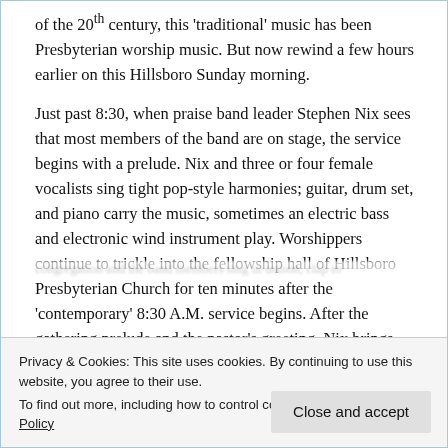of the 20th century, this 'traditional' music has been Presbyterian worship music. But now rewind a few hours earlier on this Hillsboro Sunday morning.
Just past 8:30, when praise band leader Stephen Nix sees that most members of the band are on stage, the service begins with a prelude. Nix and three or four female vocalists sing tight pop-style harmonies; guitar, drum set, and piano carry the music, sometimes an electric bass and electronic wind instrument play. Worshippers continue to trickle into the fellowship hall of Hillsboro Presbyterian Church for ten minutes after the 'contemporary' 8:30 A.M. service begins. After the gathering prelude and the pastor's greeting, Nix brings the congregation to
Privacy & Cookies: This site uses cookies. By continuing to use this website, you agree to their use.
To find out more, including how to control cookies, see here: Cookie Policy
Close and accept